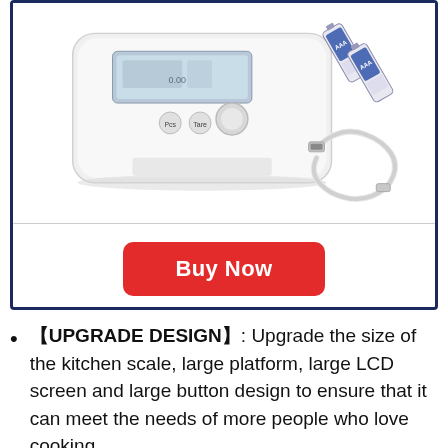[Figure (photo): Photo of a kitchen scale (white digital scale with LCD display and buttons) shown with AA batteries and a USB cable as accessories, against a white background inside a dark navy-bordered product listing box.]
Buy Now
【UPGRADE DESIGN】: Upgrade the size of the kitchen scale, large platform, large LCD screen and large button design to ensure that it can meet the needs of more people who love cooking